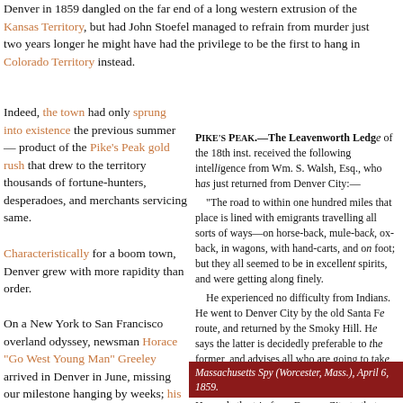Denver in 1859 dangled on the far end of a long western extrusion of the Kansas Territory, but had John Stoefel managed to refrain from murder just two years longer he might have had the privilege to be the first to hang in Colorado Territory instead.
Indeed, the town had only sprung into existence the previous summer — product of the Pike's Peak gold rush that drew to the territory thousands of fortune-hunters, desperadoes, and merchants servicing same.
Characteristically for a boom town, Denver grew with more rapidity than order.
On a New York to San Francisco overland odyssey, newsman Horace "Go West Young Man" Greeley arrived in Denver in June, missing our milestone hanging by weeks; his annals (being dispatched east for publication) describe a hardscrabble* place that "can boast of no
[Figure (other): Newspaper clipping with dark red border. Headline: Pike's Peak. — The Leavenworth Ledg... Text describes intelligence from Wm. S. Walsh, Esq., who had just returned from Denver City, describing road conditions, travel, Indians, Santa Fe route, Smoky Hill route, gold dust, and miners.]
Massachusetts Spy (Worcester, Mass.), April 6, 1859.